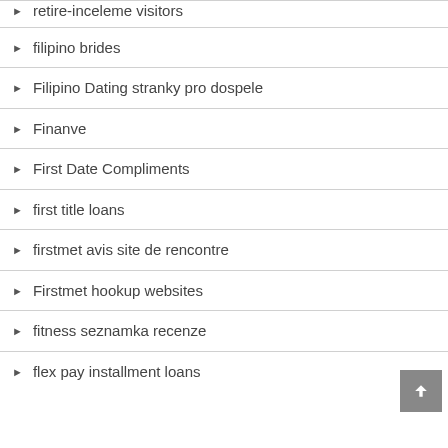retire-inceleme visitors
filipino brides
Filipino Dating stranky pro dospele
Finanve
First Date Compliments
first title loans
firstmet avis site de rencontre
Firstmet hookup websites
fitness seznamka recenze
flex pay installment loans